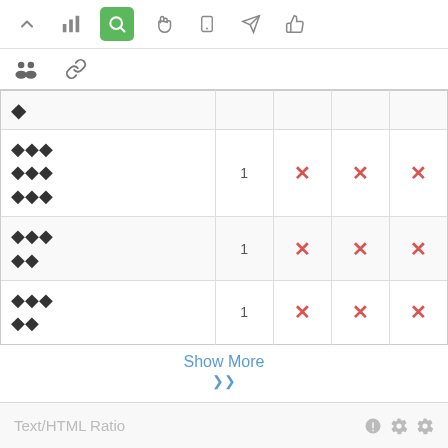[Figure (screenshot): Top navigation toolbar with icons: up arrow, bar chart, search (active/green), hand cursor, tablet, send/rocket, thumbs up]
[Figure (screenshot): Secondary toolbar with group/people icon and link/chain icon]
| ◆ |  |  |  |  |
| ◆◆◆ ◆◆◆ ◆◆◆ | 1 | ✗ | ✗ | ✗ |
| ◆◆◆ ◆◆ | 1 | ✗ | ✗ | ✗ |
| ◆◆◆ ◆◆ | 1 | ✗ | ✗ | ✗ |
Show More
⌄⌄
Text/HTML Ratio